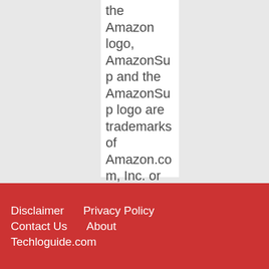the Amazon logo, AmazonSupply and the AmazonSupply logo are trademarks of Amazon.com, Inc. or its affiliates.
Disclaimer   Privacy Policy   Contact Us   About   Techloguide.com